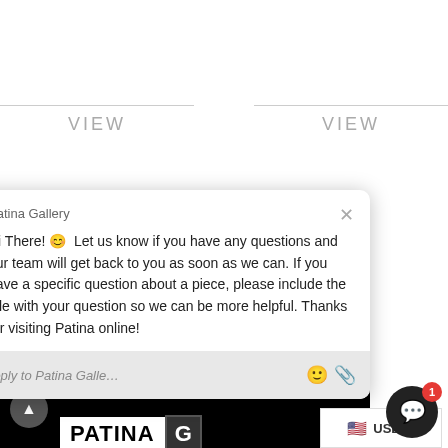VIEW
VIEW
[Figure (screenshot): Patina Gallery website footer screenshot with black background showing logo, contact info, navigation links, and an overlaid chat popup from Patina Gallery with message: Hi There! 😊 Let us know if you have any questions and our team will get back to you as soon as we can. If you have a specific question about a piece, please include the title with your question so we can be more helpful. Thanks for visiting Patina online!]